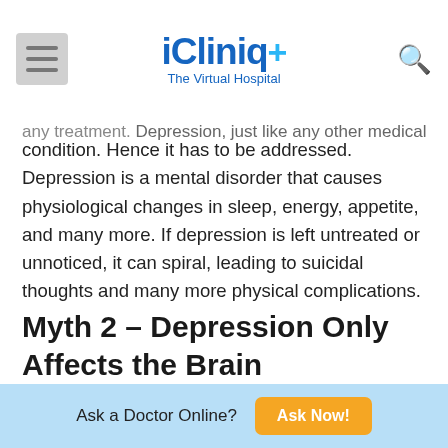iCliniq+ The Virtual Hospital
condition. Hence it has to be addressed. Depression is a mental disorder that causes physiological changes in sleep, energy, appetite, and many more. If depression is left untreated or unnoticed, it can spiral, leading to suicidal thoughts and many more physical complications.
Myth 2 – Depression Only Affects the Brain
[Figure (photo): Person with curly hair holding their head in their hand, sitting in front of a bookshelf, appearing distressed. iCliniq logo watermark visible in top-left of image.]
Ask a Doctor Online?  Ask Now!